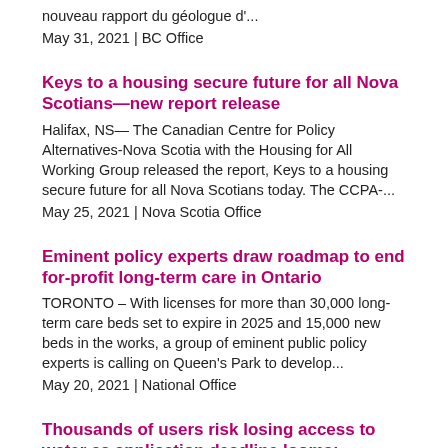nouveau rapport du géologue d'...
May 31, 2021 | BC Office
Keys to a housing secure future for all Nova Scotians—new report release
Halifax, NS— The Canadian Centre for Policy Alternatives-Nova Scotia with the Housing for All Working Group released the report, Keys to a housing secure future for all Nova Scotians today. The CCPA-...
May 25, 2021 | Nova Scotia Office
Eminent policy experts draw roadmap to end for-profit long-term care in Ontario
TORONTO – With licenses for more than 30,000 long-term care beds set to expire in 2025 and 15,000 new beds in the works, a group of eminent public policy experts is calling on Queen's Park to develop...
May 20, 2021 | National Office
Thousands of users risk losing access to water as application deadline looms: government must act swiftly to avoid crisis